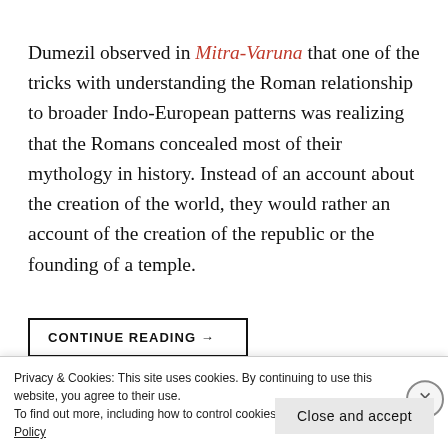Dumezil observed in Mitra-Varuna that one of the tricks with understanding the Roman relationship to broader Indo-European patterns was realizing that the Romans concealed most of their mythology in history. Instead of an account about the creation of the world, they would rather an account of the creation of the republic or the founding of a temple.
CONTINUE READING →
Privacy & Cookies: This site uses cookies. By continuing to use this website, you agree to their use.
To find out more, including how to control cookies, see here: Cookie Policy
Close and accept